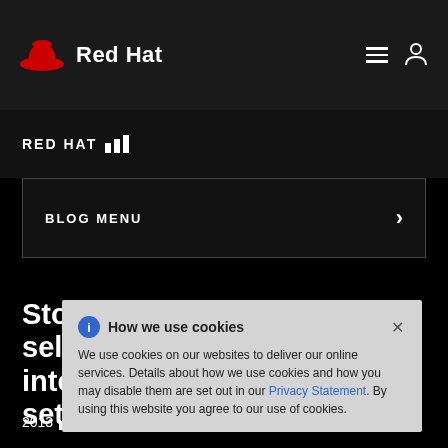Red Hat
RED HAT
BLOG MENU
Stock Exchange of Thailand selects Red Hat for its integrated clearing and settlement system upgrade
How we use cookies
We use cookies on our websites to deliver our online services. Details about how we use cookies and how you may disable them are set out in our Privacy Statement. By using this website you agree to our use of cookies.
2013 [bars] 14 | Red Hat Corporate Communications Team